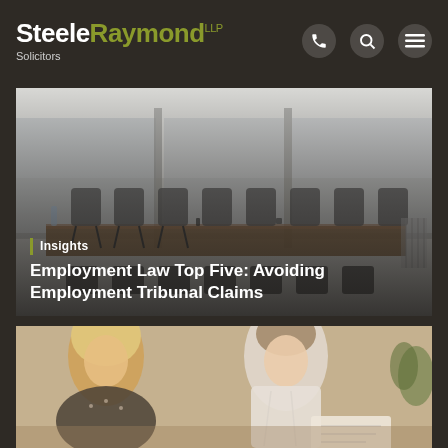SteeleRaymond LLP Solicitors
[Figure (photo): Conference room with long table and chairs, used as hero image for article about Employment Law Top Five: Avoiding Employment Tribunal Claims]
Insights — Employment Law Top Five: Avoiding Employment Tribunal Claims
[Figure (photo): Two women in a meeting or consultation, partially visible at the bottom of the page]